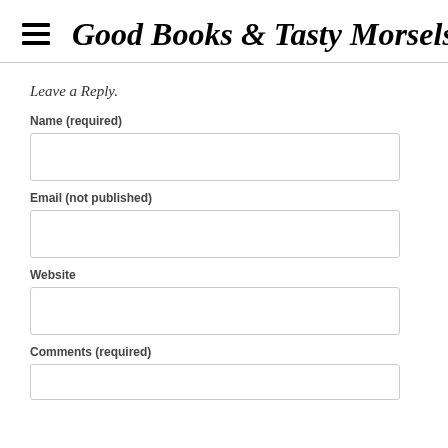Good Books & Tasty Morsels
Leave a Reply.
Name (required)
Email (not published)
Website
Comments (required)